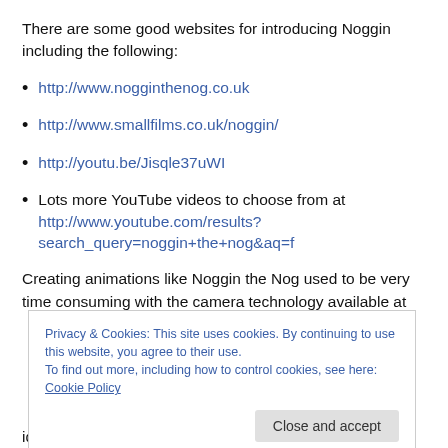There are some good websites for introducing Noggin including the following:
http://www.nogginthenog.co.uk
http://www.smallfilms.co.uk/noggin/
http://youtu.be/Jisqle37uWI
Lots more YouTube videos to choose from at http://www.youtube.com/results?search_query=noggin+the+nog&aq=f
Creating animations like Noggin the Nog used to be very time consuming with the camera technology available at
Privacy & Cookies: This site uses cookies. By continuing to use this website, you agree to their use.
To find out more, including how to control cookies, see here: Cookie Policy
idea to get the whole class involved in producing a short